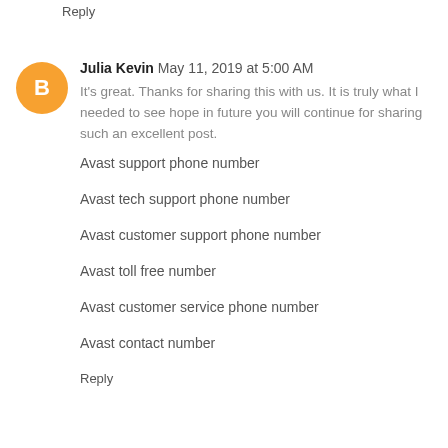Reply
Julia Kevin  May 11, 2019 at 5:00 AM
It's great. Thanks for sharing this with us. It is truly what I needed to see hope in future you will continue for sharing such an excellent post.
Avast support phone number
Avast tech support phone number
Avast customer support phone number
Avast toll free number
Avast customer service phone number
Avast contact number
Reply